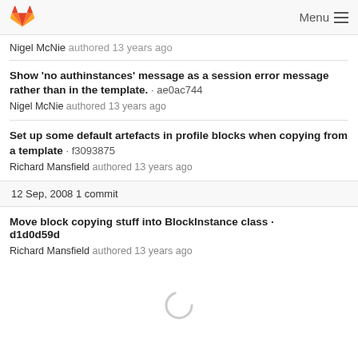GitLab · Menu
Nigel McNie authored 13 years ago
Show 'no authinstances' message as a session error message rather than in the template. · ae0ac744
Nigel McNie authored 13 years ago
Set up some default artefacts in profile blocks when copying from a template · f3093875
Richard Mansfield authored 13 years ago
12 Sep, 2008 1 commit
Move block copying stuff into BlockInstance class · d1d0d59d
Richard Mansfield authored 13 years ago
[Figure (other): Loading spinner circle animation indicator]